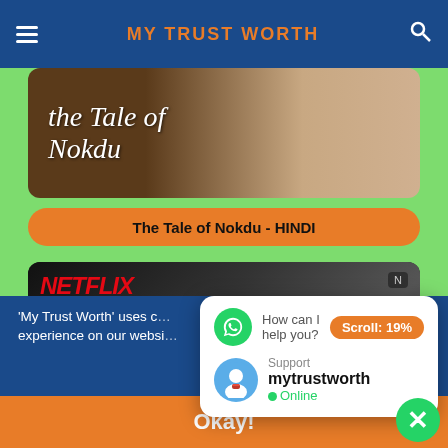MY TRUST WORTH
[Figure (screenshot): The Tale of Nokdu Korean drama banner image with stylized calligraphy title text]
The Tale of Nokdu - HINDI
[Figure (screenshot): Netflix banner showing two people in black and white photography with Netflix logo]
'My Trust Worth' uses c... experience on our websi...
[Figure (screenshot): WhatsApp chat popup showing 'How can I help you?' message with Support mytrustworth Online status and Scroll: 19% badge]
Okay!